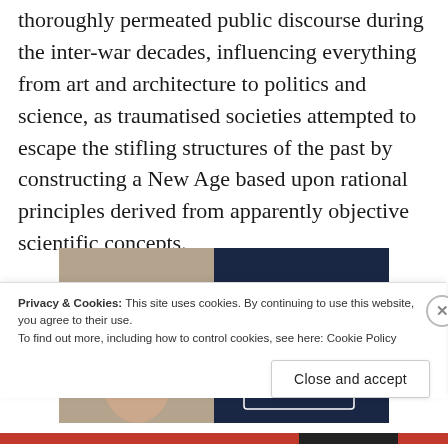thoroughly permeated public discourse during the inter-war decades, influencing everything from art and architecture to politics and science, as traumatised societies attempted to escape the stifling structures of the past by constructing a New Age based upon rational principles derived from apparently objective scientific concepts.
[Figure (screenshot): Advertisement banner for WordPress Hosting. Left half shows a person holding an OPEN sign, right half has dark navy background with text: WORDPRESS HOSTING THAT MEANS BUSINESS.]
Privacy & Cookies: This site uses cookies. By continuing to use this website, you agree to their use.
To find out more, including how to control cookies, see here: Cookie Policy
Close and accept